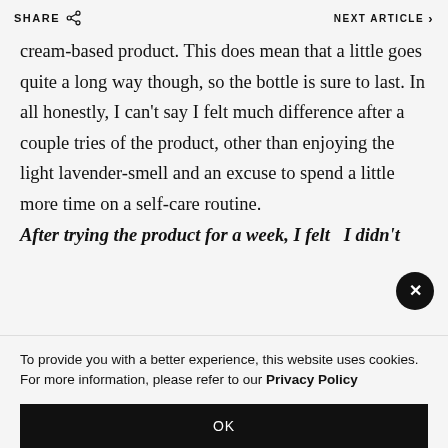SHARE   NEXT ARTICLE ›
cream-based product. This does mean that a little goes quite a long way though, so the bottle is sure to last. In all honestly, I can't say I felt much difference after a couple tries of the product, other than enjoying the light lavender-smell and an excuse to spend a little more time on a self-care routine.
After trying the product for a week, I felt   I didn't
To provide you with a better experience, this website uses cookies. For more information, please refer to our Privacy Policy
OK